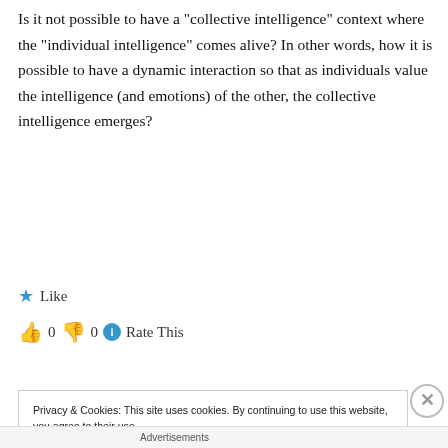Is it not possible to have a "collective intelligence" context where the "individual intelligence" comes alive? In other words, how it is possible to have a dynamic interaction so that as individuals value the intelligence (and emotions) of the other, the collective intelligence emerges?
★ Like
👍 0 👎 0 ℹ Rate This
Log in to Reply
Privacy & Cookies: This site uses cookies. By continuing to use this website, you agree to their use.
To find out more, including how to control cookies, see here: Cookie Policy
Close and accept
Advertisements